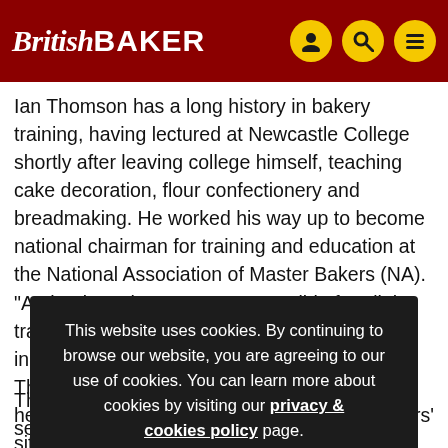British BAKER
Ian Thomson has a long history in bakery training, having lectured at Newcastle College shortly after leaving college himself, teaching cake decoration, flour confectionery and breadmaking. He worked his way up to become national chairman for training and education at the National Association of Master Bakers (NA). "At the time, the NA was responsible for all the training in bakery, so I was always in
This website uses cookies. By continuing to browse our website, you are agreeing to our use of cookies. You can learn more about cookies by visiting our privacy & cookies policy page.
Thomson takes the opposite view. "We have a seven-year